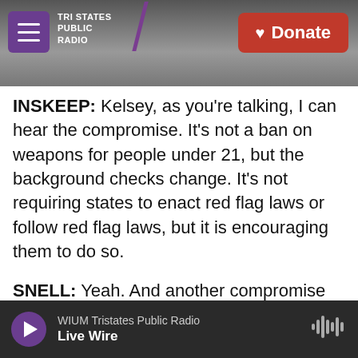[Figure (screenshot): Tri States Public Radio header banner with logo, hamburger menu button, and red Donate button]
INSKEEP: Kelsey, as you're talking, I can hear the compromise. It's not a ban on weapons for people under 21, but the background checks change. It's not requiring states to enact red flag laws or follow red flag laws, but it is encouraging them to do so.
SNELL: Yeah. And another compromise here is the way that they approach the rules for people who have been convicted of domestic abuse. Democrats have tried for years to expand the definition who - of who qualifies for a ban after that conviction to include dating partners, rather than just spouses or former spouses. Now, this bill does
WIUM Tristates Public Radio | Live Wire